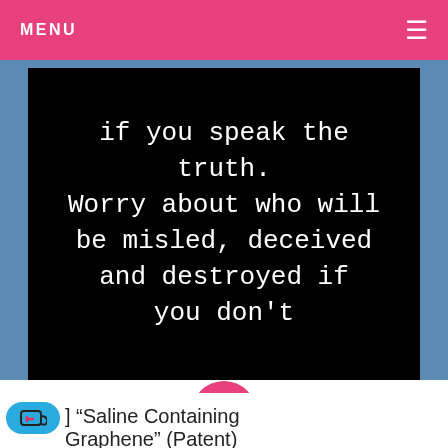MENU
[Figure (screenshot): Black background image with white text quote reading: 'if you speak the truth. Worry about who will be misled, deceived and destroyed if you don't']
[Figure (other): Pink circular play button on white background]
] “Saline Containing Graphene” (Patent)